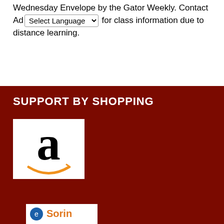Wednesday Envelope by the Gator Weekly. Contact Ad[Select Language] for class information due to distance learning.
SUPPORT BY SHOPPING
[Figure (logo): Amazon logo: large black lowercase 'a' with orange smile/arrow beneath, on white background]
[Figure (logo): Sorio logo partially visible at bottom, white background with orange and blue elements]